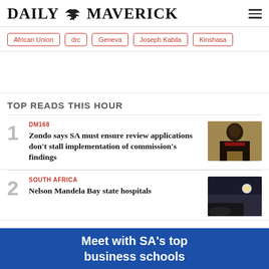DAILY MAVERICK
African Union
drc
Geneva
Joseph Kabila
Kinshasa
TOP READS THIS HOUR
1
DM168
Zondo says SA must ensure review applications don't stall implementation of commission's findings
[Figure (photo): Portrait photo of a man speaking at a podium, wearing a dark suit with a red tie, with a decorative emblem visible]
2
SOUTH AFRICA
Nelson Mandela Bay state hospitals
[Figure (photo): Night scene photo with dark sky and a bright light source]
[Figure (infographic): Blue advertisement banner reading: Meet with SA's top business schools]